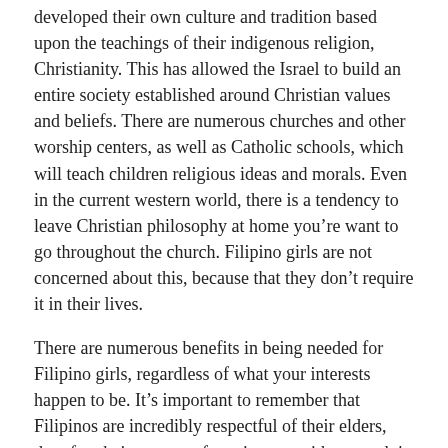developed their own culture and tradition based upon the teachings of their indigenous religion, Christianity. This has allowed the Israel to build an entire society established around Christian values and beliefs. There are numerous churches and other worship centers, as well as Catholic schools, which will teach children religious ideas and morals. Even in the current western world, there is a tendency to leave Christian philosophy at home you're want to go throughout the church. Filipino girls are not concerned about this, because that they don't require it in their lives.
There are numerous benefits in being needed for Filipino girls, regardless of what your interests happen to be. It's important to remember that Filipinos are incredibly respectful of their elders, therefore being a part of a going out with network is likely to make you element of a top of the line group of males. It may seem just like something to look forward to, nevertheless the fact that you are in that large community means you can expect to satisfy many more interesting Filipinos on the way.
Most Filipino women you meet in your online dating network are willing to perform just about anything to impress men and make them feel particular. They may only want to talk about themselves